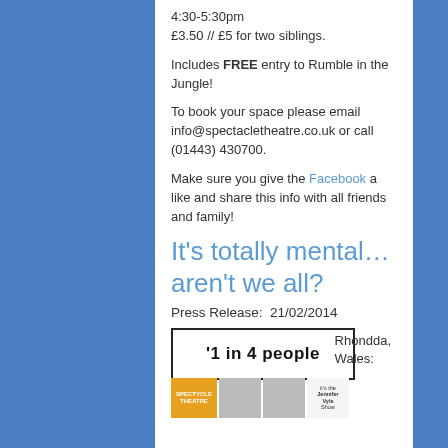4:30-5:30pm
£3.50 // £5 for two siblings.
Includes FREE entry to Rumble in the Jungle!
To book your space please email info@spectacletheatre.co.uk or call (01443) 430700.
Make sure you give the Facebook a like and share this info with all friends and family!
It's totally mental…aren't we all?
Press Release:  21/02/2014
[Figure (photo): Banner reading '1 in 4 people' with photo strip of Spectycle Theatre logo, two face photos, and Jennifer Vyle Show logo. Text 'Rhondda, Wales:' to the right.]